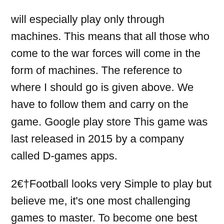will especially play only through machines. This means that all those who come to the war forces will come in the form of machines. The reference to where I should go is given above. We have to follow them and carry on the game. Google play store This game was last released in 2015 by a company called D-games apps.
2🔷Football looks very Simple to play but believe me, it's one most challenging games to master. To become one best player, you will have multiple skills like leadership, stamina, calmness, and many more things. Customize your Hero and give the best unique look and a great skillset like famous players like Christiano Ronaldo and Messi. Intelligent AI adapts to your passes, and as your opponents are ai, you can; after few matches, you can easily predict some commonly repeated moves. Upgrade your skills and try to become the master of fields.
3🔷Hoop League Tactics Mod Hoop League Tactics v1.8.5 MOD APK (Premium/Free Cost) Features:Premium/Free CostHoop